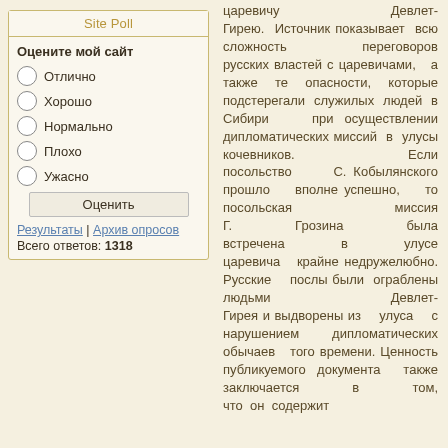Site Poll
Оцените мой сайт
Отлично
Хорошо
Нормально
Плохо
Ужасно
Оценить
Результаты | Архив опросов
Всего ответов: 1318
царевичу Девлет-Гирею. Источник показывает всю сложность переговоров русских властей с царевичами, а также те опасности, которые подстерегали служилых людей в Сибири при осуществлении дипломатических миссий в улусы кочевников. Если посольство С. Кобылянского прошло вполне успешно, то посольская миссия Г. Грозина была встречена в улусе царевича крайне недружелюбно. Русские послы были ограблены людьми Девлет-Гирея и выдворены из улуса с нарушением дипломатических обычаев того времени. Ценность публикуемого документа также заключается в том, что он содержит